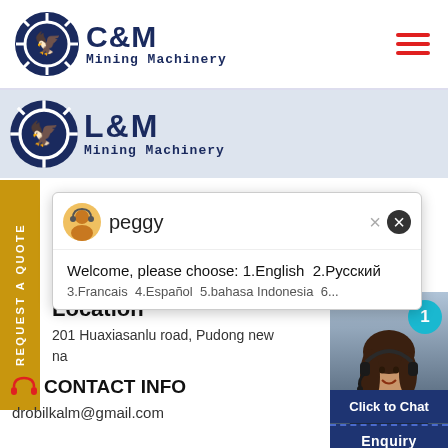[Figure (logo): C&M Mining Machinery logo with eagle gear icon, dark blue, top left]
[Figure (logo): Hamburger menu icon (three horizontal red lines), top right]
[Figure (logo): L&M Mining Machinery logo with gear icon on grey banner strip]
REQUEST A QUOTE (yellow vertical sidebar text)
[Figure (screenshot): Chat popup with peggy avatar, welcome message: Welcome, please choose: 1.English 2.Русский 3.Francais 4.Español 5.bahasa Indonesia 6...]
Location
201 Huaxiasanlu road, Pudong new
na
[Figure (photo): Customer service woman with headset, right side panel with notification badge showing 1]
CONTACT INFO
drobilkalm@gmail.com
Click to Chat
Enquiry